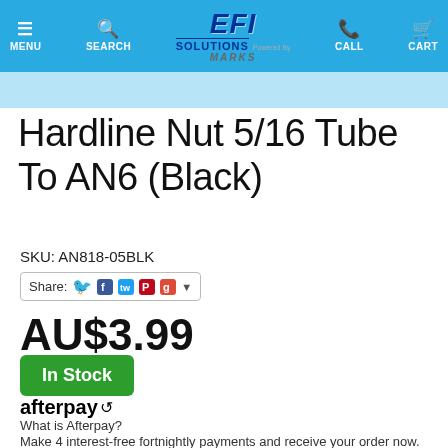EFI Solutions — MENU | SEARCH | CALL | CART
Hardline Nut 5/16 Tube To AN6 (Black)
SKU: AN818-05BLK
Share:
AU$3.99
In Stock
afterpay
What is Afterpay?
Make 4 interest-free fortnightly payments and receive your order now. On orders $99 to $2,000
Zip it now, pay later